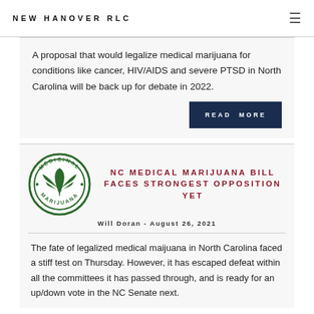NEW HANOVER RLC
A proposal that would legalize medical marijuana for conditions like cancer, HIV/AIDS and severe PTSD in North Carolina will be back up for debate in 2022.
READ MORE
[Figure (logo): Medicinal Marijuana circular stamp logo with cannabis leaf in center]
NC MEDICAL MARIJUANA BILL FACES STRONGEST OPPOSITION YET
Will Doran - August 26, 2021
The fate of legalized medical maijuana in North Carolina faced a stiff test on Thursday. However, it has escaped defeat within all the committees it has passed through, and is ready for an up/down vote in the NC Senate next.